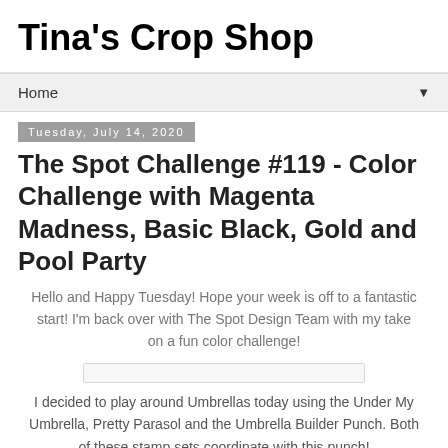Tina's Crop Shop
Home
Tuesday, July 14, 2020
The Spot Challenge #119 - Color Challenge with Magenta Madness, Basic Black, Gold and Pool Party
Hello and Happy Tuesday!  Hope your week is off to a fantastic start!  I'm back over with The Spot Design Team with my take on a fun color challenge!
I decided to play around Umbrellas today using the Under My Umbrella, Pretty Parasol and the Umbrella Builder Punch.  Both of these stamp sets coordinate with this punch!